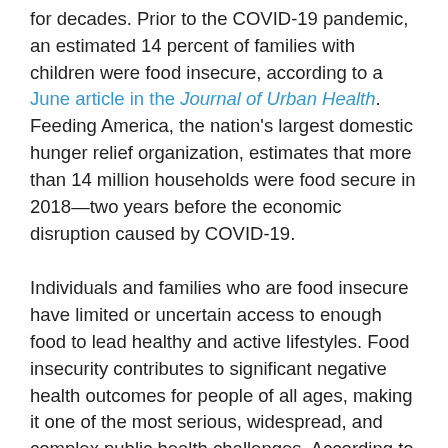for decades. Prior to the COVID-19 pandemic, an estimated 14 percent of families with children were food insecure, according to a June article in the Journal of Urban Health. Feeding America, the nation's largest domestic hunger relief organization, estimates that more than 14 million households were food secure in 2018—two years before the economic disruption caused by COVID-19.
Individuals and families who are food insecure have limited or uncertain access to enough food to lead healthy and active lifestyles. Food insecurity contributes to significant negative health outcomes for people of all ages, making it one of the most serious, widespread, and complex public health challenges. According to a 2015 Health Affairs article that examined several recent studies, food insecurity has been associated with increased risk of some birth defects, anemia, cognitive problems, and aggression and anxiety in children. The article also details potential